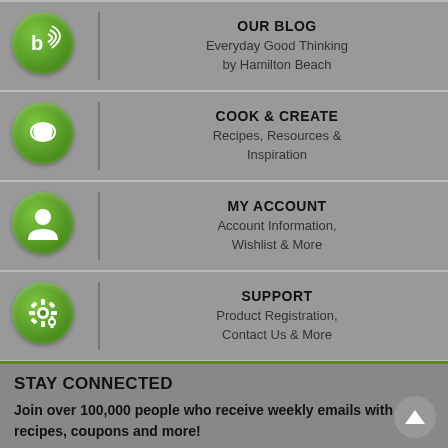OUR BLOG — Everyday Good Thinking by Hamilton Beach
COOK & CREATE — Recipes, Resources & Inspiration
MY ACCOUNT — Account Information, Wishlist & More
SUPPORT — Product Registration, Contact Us & More
STAY CONNECTED
Join over 100,000 people who receive weekly emails with recipes, coupons and more!